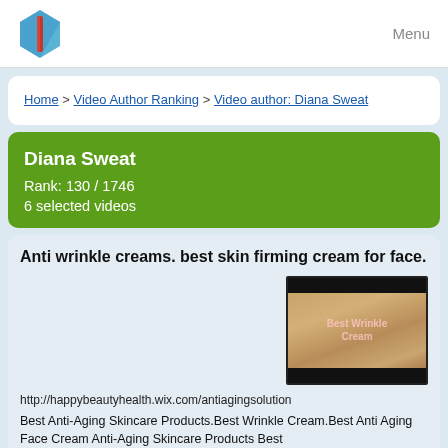Menu
Home > Video Author Ranking > Video author: Diana Sweat
Diana Sweat
Rank: 130 / 1746
6 selected videos
Anti wrinkle creams. best skin firming cream for face.
[Figure (photo): Thumbnail of a close-up face of a middle-aged woman with text overlay reading 'Best Wrinkle Cream']
http://happybeautyhealth.wix.com/antiagingsolution
Best Anti-Aging Skincare Products.Best Wrinkle Cream.Best Anti Aging Face Cream Anti-Aging Skincare Products Best